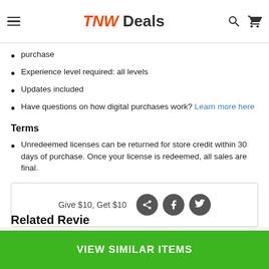TNW Deals
purchase
Experience level required: all levels
Updates included
Have questions on how digital purchases work? Learn more here
Terms
Unredeemed licenses can be returned for store credit within 30 days of purchase. Once your license is redeemed, all sales are final.
Give $10, Get $10
Related Reviews
VIEW SIMILAR ITEMS